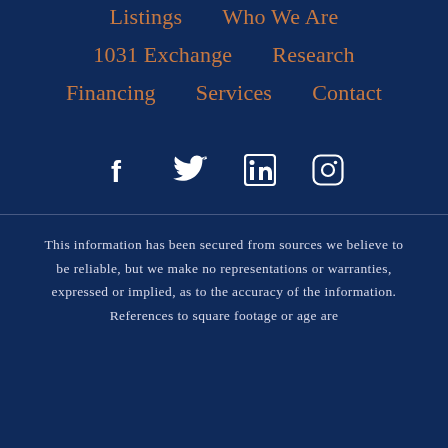Listings  Who We Are
1031 Exchange  Research
Financing  Services  Contact
[Figure (infographic): Row of four social media icons: Facebook, Twitter, LinkedIn, Instagram in white on dark navy background]
This information has been secured from sources we believe to be reliable, but we make no representations or warranties, expressed or implied, as to the accuracy of the information. References to square footage or age are